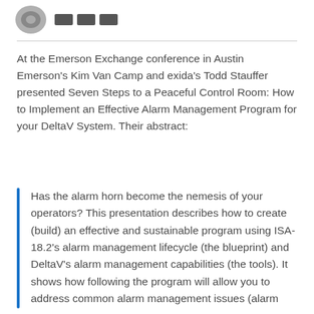[Logo area with circular image and icon elements]
At the Emerson Exchange conference in Austin Emerson's Kim Van Camp and exida's Todd Stauffer presented Seven Steps to a Peaceful Control Room: How to Implement an Effective Alarm Management Program for your DeltaV System. Their abstract:
Has the alarm horn become the nemesis of your operators? This presentation describes how to create (build) an effective and sustainable program using ISA-18.2's alarm management lifecycle (the blueprint) and DeltaV's alarm management capabilities (the tools). It shows how following the program will allow you to address common alarm management issues (alarm